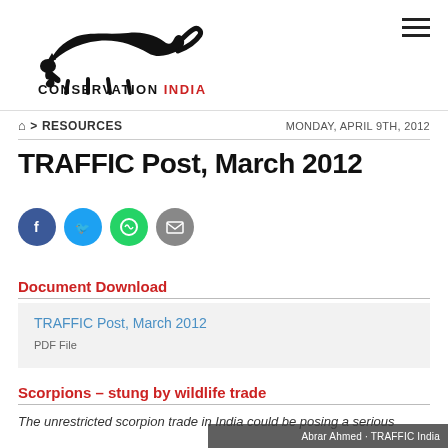[Figure (logo): Conservation India logo — leaping big cat silhouette above text CONSERVATION INDIA]
Home > RESOURCES    MONDAY, APRIL 9TH, 2012
TRAFFIC Post, March 2012
[Figure (infographic): Social share icons: Facebook (blue circle), Twitter (blue circle), WhatsApp (green circle), Email (grey circle)]
Document Download
TRAFFIC Post, March 2012
PDF File
Scorpions – stung by wildlife trade
The unrestricted scorpion trade in India could be posing a serious